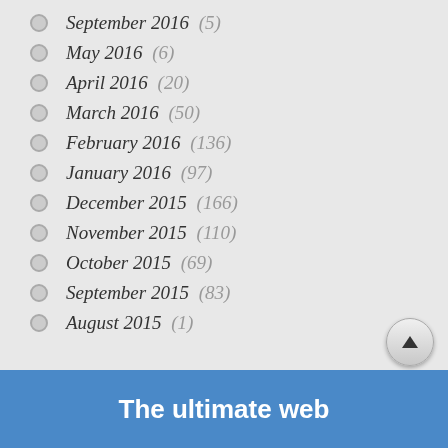September 2016 (5)
May 2016 (6)
April 2016 (20)
March 2016 (50)
February 2016 (136)
January 2016 (97)
December 2015 (166)
November 2015 (110)
October 2015 (69)
September 2015 (83)
August 2015 (1)
The ultimate web